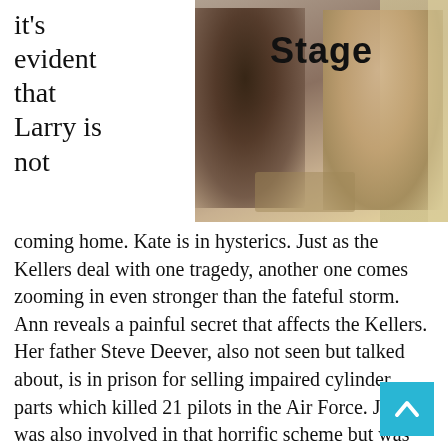it's evident that Larry is not
[Figure (photo): A stage production photo showing two actors on a porch set. One actor (a woman in a floral dress) and another (an older man in a striped shirt with suspenders) are seated. The word 'Stage' appears overlaid on the image in bold black text.]
coming home. Kate is in hysterics. Just as the Kellers deal with one tragedy, another one comes zooming in even stronger than the fateful storm. Ann reveals a painful secret that affects the Kellers. Her father Steve Deever, also not seen but talked about, is in prison for selling impaired cylinder parts which killed 21 pilots in the Air Force. Joe was also involved in that horrific scheme but was exonerated. Ann's brother George (James McAndrew) a World War II veteran turned successful New York lawyer believed that his f was solely responsible for the lives lost. Then,